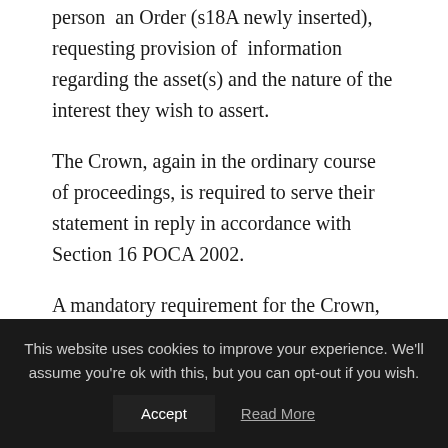person  an Order (s18A newly inserted), requesting provision of  information regarding the asset(s) and the nature of the interest they wish to assert.
The Crown, again in the ordinary course of proceedings, is required to serve their statement in reply in accordance with Section 16 POCA 2002.
A mandatory requirement for the Crown, following the enactment of the Serious Crime Act 2015, is that they are now obliged to include any information
This website uses cookies to improve your experience. We'll assume you're ok with this, but you can opt-out if you wish.